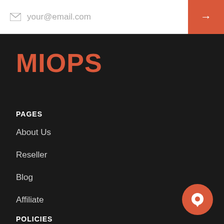your@email.com
MIOPS
PAGES
About Us
Reseller
Blog
Affiliate
POLICIES
Privacy Policy